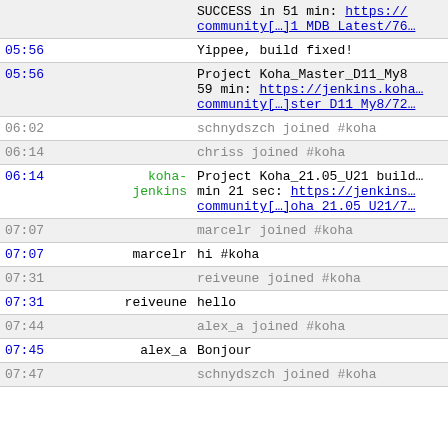| Time | User | Message |
| --- | --- | --- |
|  |  | SUCCESS in 51 min: https://community[…]1 MDB Latest/76… |
| 05:56 |  | Yippee, build fixed! |
| 05:56 |  | Project Koha_Master_D11_My8… 59 min: https://jenkins.koha…community[…]ster D11 My8/72… |
| 06:02 |  | schnydszch joined #koha |
| 06:14 |  | chriss joined #koha |
| 06:14 | koha-jenkins | Project Koha_21.05_U21 build… min 21 sec: https://jenkins…community[…]oha 21.05 U21/7… |
| 07:07 |  | marcelr joined #koha |
| 07:07 | marcelr | hi #koha |
| 07:31 |  | reiveune joined #koha |
| 07:31 | reiveune | hello |
| 07:44 |  | alex_a joined #koha |
| 07:45 | alex_a | Bonjour |
| 07:47 |  | schnydszch joined #koha |